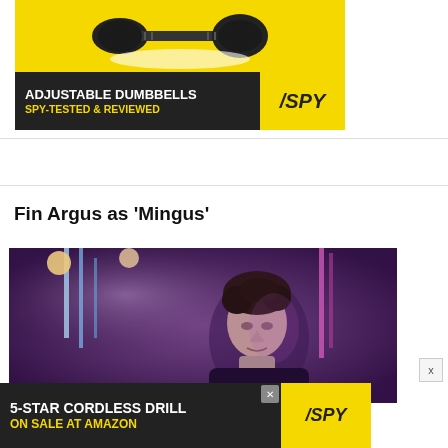[Figure (photo): Ad for Adjustable Dumbbells from SPY. Yellow background with dumbbell image on top, black bar at bottom reading 'ADJUSTABLE DUMBBELLS' in white and 'SPY-TESTED & REVIEWED' in yellow, with SPY logo on right.]
Fin Argus as 'Mingus'
[Figure (photo): Photo of young man with curly dark hair, looking upward, lit by neon purple and blue lights in what appears to be a club or stage setting.]
[Figure (photo): Ad banner: 5-STAR CORDLESS DRILL ON SALE AT AMAZON with SPY logo.]